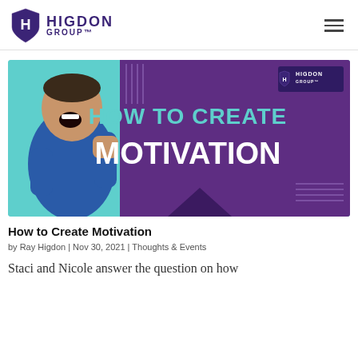HIGDON GROUP™
[Figure (illustration): Promotional banner image for blog post 'How to Create Motivation'. Features a man in a blue shirt with his fist raised, shouting, against a purple background. Text reads 'HOW TO CREATE MOTIVATION' in teal and white. Higdon Group logo in top right corner.]
How to Create Motivation
by Ray Higdon | Nov 30, 2021 | Thoughts & Events
Staci and Nicole answer the question on how